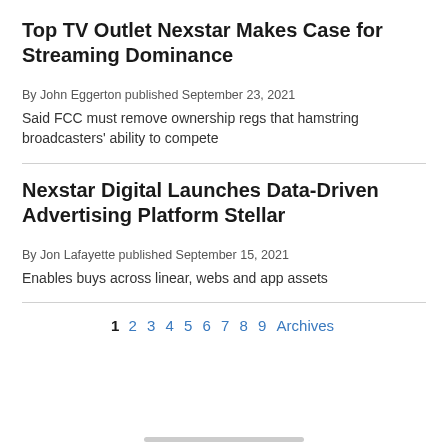Top TV Outlet Nexstar Makes Case for Streaming Dominance
By John Eggerton published September 23, 2021
Said FCC must remove ownership regs that hamstring broadcasters' ability to compete
Nexstar Digital Launches Data-Driven Advertising Platform Stellar
By Jon Lafayette published September 15, 2021
Enables buys across linear, webs and app assets
1 2 3 4 5 6 7 8 9 Archives